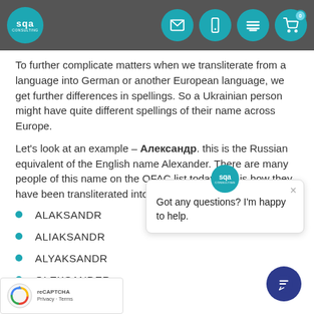SQA Consulting navigation bar with logo and icons
To further complicate matters when we transliterate from a language into German or another European language, we get further differences in spellings. So a Ukrainian person might have quite different spellings of their name across Europe.
Let's look at an example – Александр. this is the Russian equivalent of the English name Alexander. There are many people of this name on the OFAC list today, this is how they have been transliterated into the OFAC SDN list.
ALAKSANDR
ALIAKSANDR
ALYAKSANDR
OLEKSANDER
OLEKSANDR
OLEXANDER